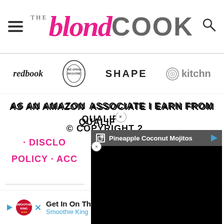[Figure (logo): The Blond Cook website header with hamburger menu, logo, and search icon]
[Figure (logo): Media feature logos: redbook, The Oprah Magazine, SHAPE, kitchn]
AS AN AMAZON ASSOCIATE I EARN FROM QUALIFYING PURCHASES.
© COPYRIGHT 2...
· DISCLO... · PRIVACY POLICY · ACC...
[Figure (screenshot): Video popup overlay showing 'Pineapple Coconut Mojitos' with black video area and close button]
AN ELITE C...
[Figure (screenshot): Bottom advertisement bar for Smoothie King - Get In On The Buzz]